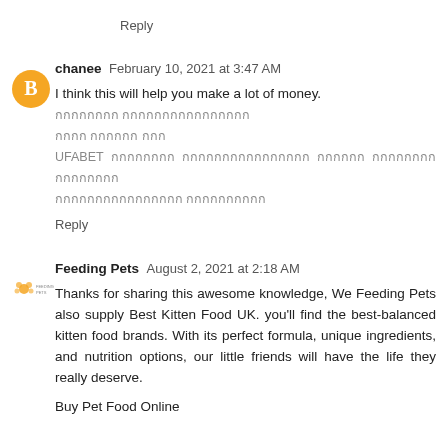Reply
chanee  February 10, 2021 at 3:47 AM
I think this will help you make a lot of money. [Thai text] UFABET [Thai text]
Reply
Feeding Pets  August 2, 2021 at 2:18 AM
Thanks for sharing this awesome knowledge, We Feeding Pets also supply Best Kitten Food UK. you'll find the best-balanced kitten food brands. With its perfect formula, unique ingredients, and nutrition options, our little friends will have the life they really deserve.
Buy Pet Food Online